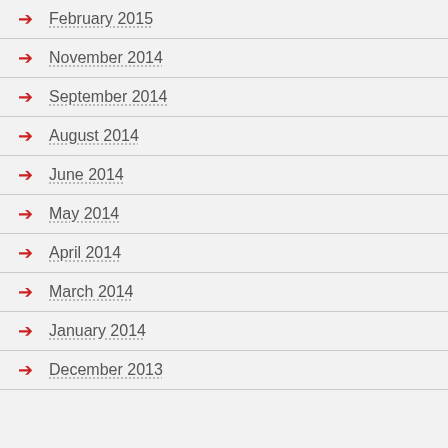February 2015
November 2014
September 2014
August 2014
June 2014
May 2014
April 2014
March 2014
January 2014
December 2013